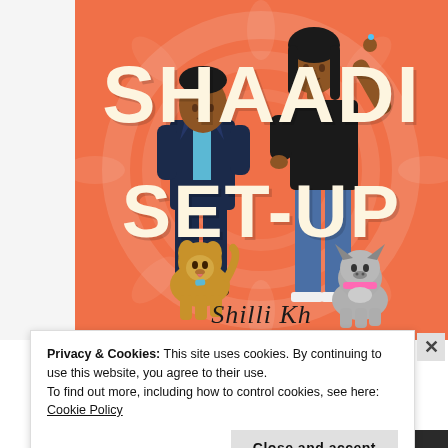[Figure (illustration): Book cover for 'Shaadi Set-Up' on an orange background showing two illustrated figures (a man in a navy suit and a woman in a black top with jeans) standing with two dogs (a golden retriever and a French bulldog). Large white bold text reads 'SHAADI SET-UP' with the author's name in script at the bottom.]
Privacy & Cookies: This site uses cookies. By continuing to use this website, you agree to their use.
To find out more, including how to control cookies, see here: Cookie Policy
Close and accept